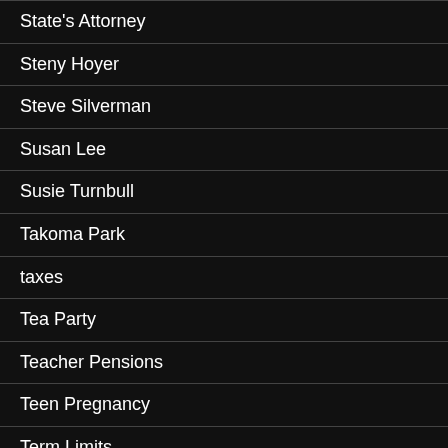State's Attorney
Steny Hoyer
Steve Silverman
Susan Lee
Susie Turnbull
Takoma Park
taxes
Tea Party
Teacher Pensions
Teen Pregnancy
Term Limits
Terrorism
This is Not Named…